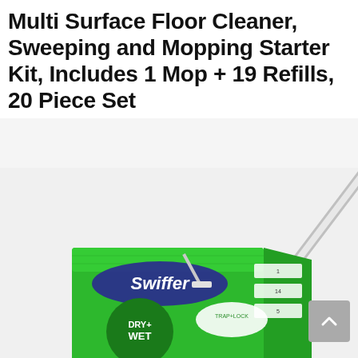Multi Surface Floor Cleaner, Sweeping and Mopping Starter Kit, Includes 1 Mop + 19 Refills, 20 Piece Set
[Figure (photo): Product photo of Swiffer Dry+ Wet multi-surface floor cleaner starter kit box with mop handle visible diagonally, green packaging with Swiffer branding]